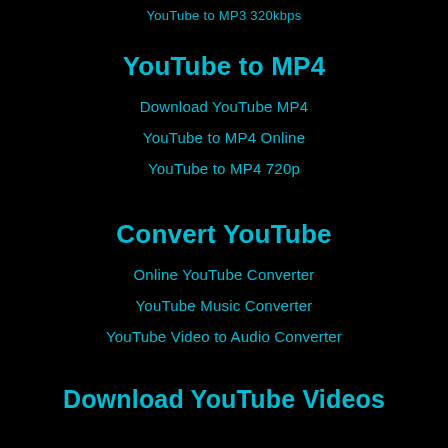YouTube to MP3 320kbps
YouTube to MP4
Download YouTube MP4
YouTube to MP4 Online
YouTube to MP4 720p
Convert YouTube
Online YouTube Converter
YouTube Music Converter
YouTube Video to Audio Converter
Download YouTube Videos